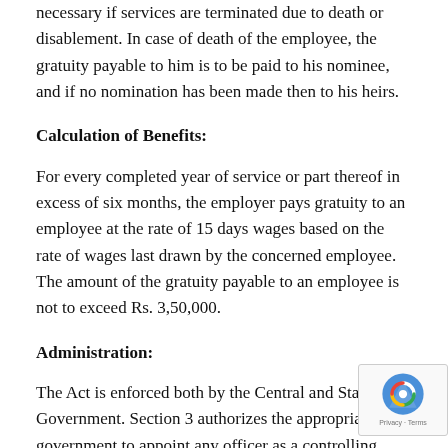necessary if services are terminated due to death or disablement. In case of death of the employee, the gratuity payable to him is to be paid to his nominee, and if no nomination has been made then to his heirs.
Calculation of Benefits:
For every completed year of service or part thereof in excess of six months, the employer pays gratuity to an employee at the rate of 15 days wages based on the rate of wages last drawn by the concerned employee. The amount of the gratuity payable to an employee is not to exceed Rs. 3,50,000.
Administration:
The Act is enforced both by the Central and State Government. Section 3 authorizes the appropriate government to appoint any officer as a controlling Authority for the administration of the Act. Mines, major ports, oilfields, railways, factories and establishments owned or controlled by the Central Government and establishment having branches in more than one State, are